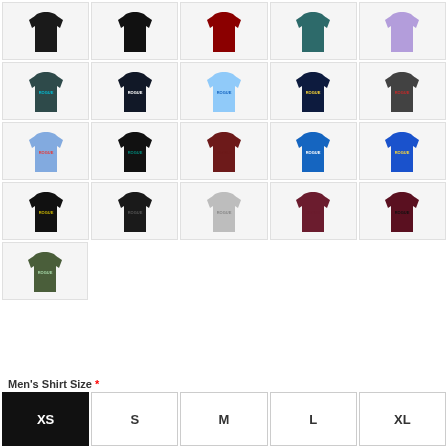[Figure (photo): Grid of Rogue t-shirts in various colors including black, navy, light blue, dark green, gray, maroon, blue, olive. Row 1: 5 shirts (partial, top cut off). Row 2: 5 shirts. Row 3: 5 shirts. Row 4: 5 shirts. Row 5: 1 shirt (olive/army green). Size selector at bottom.]
Men's Shirt Size *
XS (selected)
S
M
L
XL